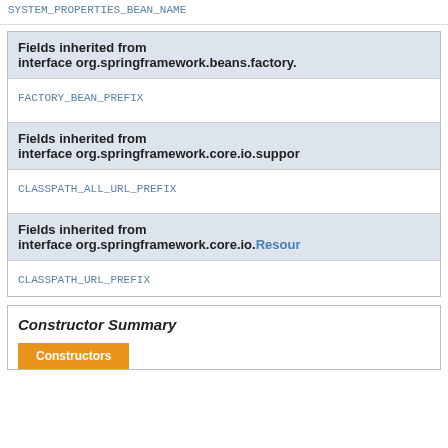SYSTEM_PROPERTIES_BEAN_NAME
| Fields inherited from interface org.springframework.beans.factory. |
| --- |
| FACTORY_BEAN_PREFIX |
| Fields inherited from interface org.springframework.core.io.suppor |
| --- |
| CLASSPATH_ALL_URL_PREFIX |
| Fields inherited from interface org.springframework.core.io.Resour |
| --- |
| CLASSPATH_URL_PREFIX |
Constructor Summary
| Constructors |
| --- |